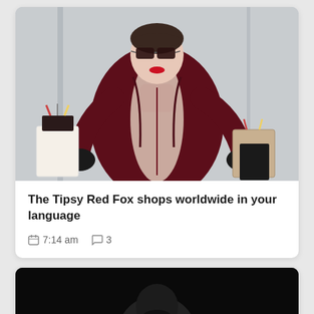[Figure (photo): Fashion photo of a woman in a dark burgundy coat and sunglasses holding shopping bags with black leather gloves, against a light background.]
The Tipsy Red Fox shops worldwide in your language
7:14 am  💬 3
[Figure (photo): Dark photo partially visible at bottom, showing a man with a beard against a black background.]